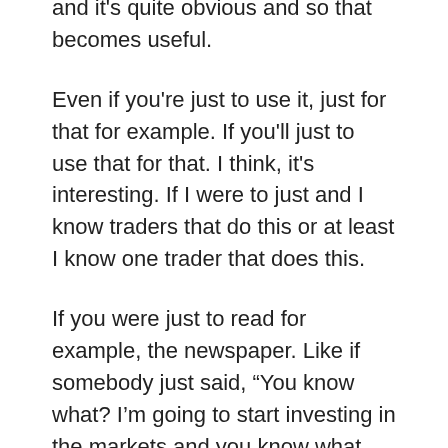and it's quite obvious and so that becomes useful.
Even if you're just to use it, just for that for example. If you'll just to use that for that. I think, it's interesting. If I were to just and I know traders that do this or at least I know one trader that does this.
If you were just to read for example, the newspaper. Like if somebody just said, “You know what? I’m going to start investing in the markets and you know what I’m going to do? I’m just going to read the newspaper. Whatever the newspaper suggest I do, I’m basically going to put my money in it.” I think